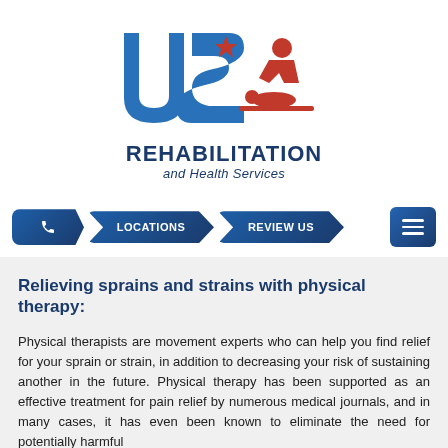[Figure (logo): US Rehabilitation and Health Services logo — large blue stylized 'US' letters with red star icon and red figure of a person receiving physical therapy treatment]
REHABILITATION
and Health Services
[Figure (infographic): Navigation bar with phone icon button, LOCATIONS button, REVIEW US button (all in dark blue parallelogram shapes), and a hamburger menu button on the right]
Relieving sprains and strains with physical therapy:
Physical therapists are movement experts who can help you find relief for your sprain or strain, in addition to decreasing your risk of sustaining another in the future. Physical therapy has been supported as an effective treatment for pain relief by numerous medical journals, and in many cases, it has even been known to eliminate the need for potentially harmful